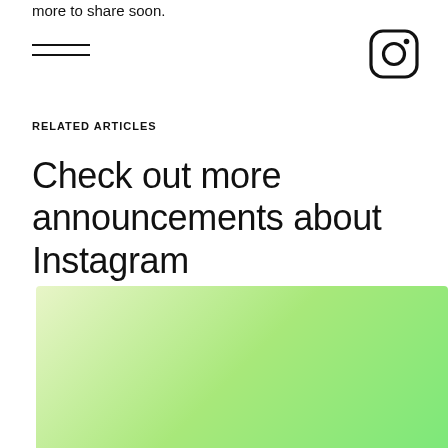more to share soon.
[Figure (logo): Instagram camera icon logo]
RELATED ARTICLES
Check out more announcements about Instagram
[Figure (illustration): Green gradient rectangle image]